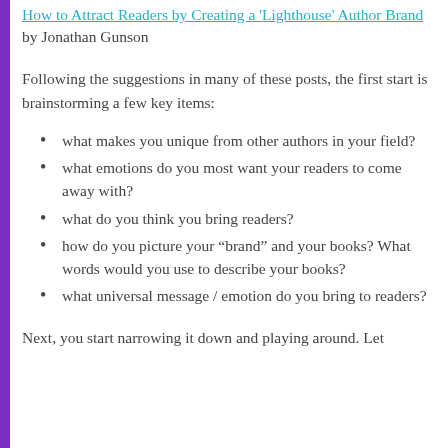How to Attract Readers by Creating a 'Lighthouse' Author Brand by Jonathan Gunson
Following the suggestions in many of these posts, the first start is brainstorming a few key items:
what makes you unique from other authors in your field?
what emotions do you most want your readers to come away with?
what do you think you bring readers?
how do you picture your “brand” and your books? What words would you use to describe your books?
what universal message / emotion do you bring to readers?
Next, you start narrowing it down and playing around. Let